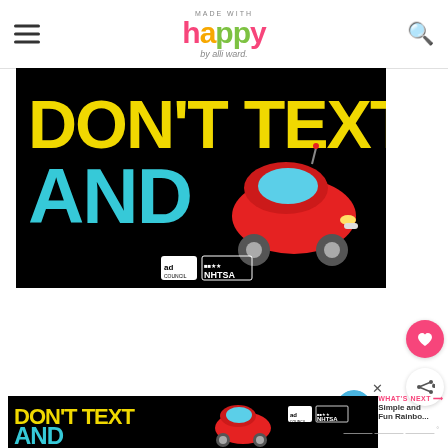MADE WITH happy by alli ward.
[Figure (photo): Black background ad image with yellow text 'DON'T TEXT' and cyan text 'AND' plus a red car emoji, with Ad Council and NHTSA logos at bottom]
[Figure (photo): Bottom banner advertisement: black background with 'DON'T TEXT AND' in yellow/cyan and red car emoji, Ad Council/NHTSA logos, with close X button]
WHAT'S NEXT → Simple and Fun Rainbo...